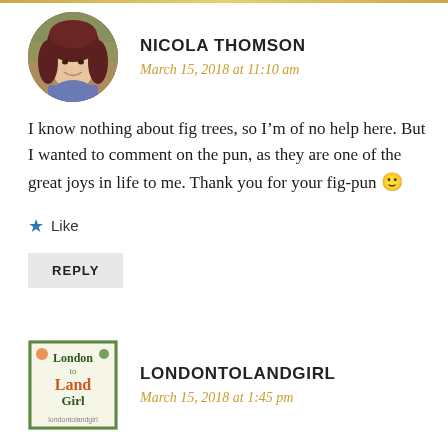[Figure (photo): Circular avatar photo of Nicola Thomson, a woman with red/auburn hair, smiling, outdoors with autumn foliage background]
NICOLA THOMSON
March 15, 2018 at 11:10 am
I know nothing about fig trees, so I'm of no help here. But I wanted to comment on the pun, as they are one of the great joys in life to me. Thank you for your fig-pun 🙂
Like
REPLY
[Figure (logo): London to Land Girl blog logo - square image with illustrated text]
LONDONTOLANDGIRL
March 15, 2018 at 1:45 pm